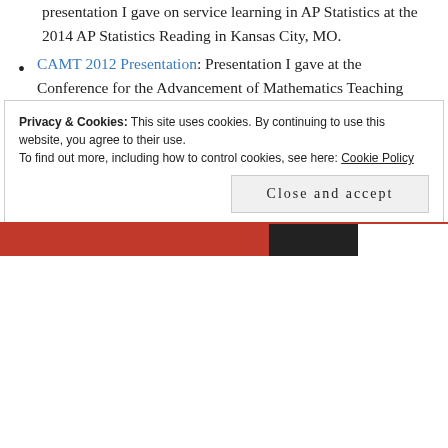presentation I gave on service learning in AP Statistics at the 2014 AP Statistics Reading in Kansas City, MO.
CAMT 2012 Presentation: Presentation I gave at the Conference for the Advancement of Mathematics Teaching based on the first statistics service-learning project mentioned above.
Geometry and the Homeless: the first service-learning project I did with my geometry students. An updated version from this last school year should find its way onto the site by mid summer.
Privacy & Cookies: This site uses cookies. By continuing to use this website, you agree to their use. To find out more, including how to control cookies, see here: Cookie Policy
Close and accept